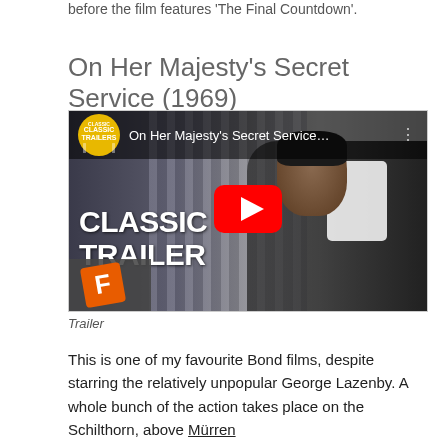before the film features 'The Final Countdown'.
On Her Majesty's Secret Service (1969)
[Figure (screenshot): YouTube video thumbnail for 'On Her Majesty's Secret Service...' Classic Trailers. Shows a man in a tuxedo with CLASSIC TRAILER text overlay and YouTube play button. Fandango logo in bottom left corner.]
Trailer
This is one of my favourite Bond films, despite starring the relatively unpopular George Lazenby. A whole bunch of the action takes place on the Schilthorn, above Mürren